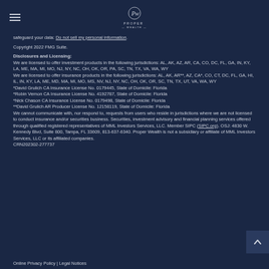Proper Wealth logo and navigation
safeguard your data: Do not sell my personal information.
Copyright 2022 FMG Suite.
Disclosures and Licensing:
We are licensed to offer investment products in the following jurisdictions: AL, AK, AZ, AR, CA, CO, DC, FL, GA, IN, KY, LA, ME, MA, MI, MO, NJ, NY, NC, OH, OK, OR, PA, SC, TN, TX, VA, WA, WY
We are licensed to offer insurance products in the following jurisdictions: AL, AK, AR**, AZ, CA*, CO, CT, DC, FL, GA, HI, IL, IN, KY, LA, ME, MD, MA, MI, MO, MS, NV, NJ, NY, NC, OH, OK, OR, SC, TN, TX, UT, VA, WA, WY
*David Grulich CA Insurance License No. 0179445, State of Domicile: Florida
*Robin Vernon CA Insurance License No. 4192787, State of Domicile: Florida
*Nick Chason CA Insurance License No. 0179498, State of Domicile: Florida
**David Grulich AR Producer License No. 12158119, State of Domicile: Florida
We cannot communicate with, nor respond to, requests from users who reside in jurisdictions where we are not licensed to conduct insurance and/or securities business. Securities, investment advisory and financial planning services offered through qualified registered representatives of MML Investors Services, LLC. Member SIPC (SIPC.org). OSJ: 4830 W. Kennedy Blvd, Suite 800, Tampa, FL 33609, 813-637-6340. Proper Wealth is not a subsidiary or affiliate of MML Investors Services, LLC or its affiliated companies. CRN202302-277737
Online Privacy Policy | Legal Notices